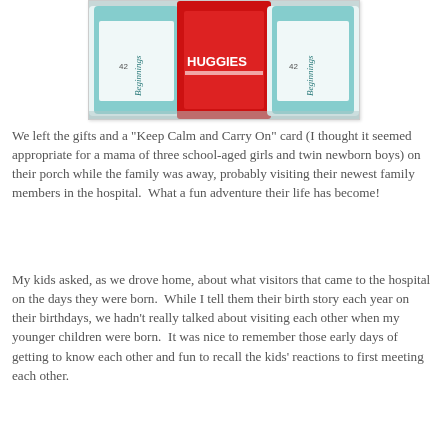[Figure (photo): Photo of Huggies diaper packages and other baby diaper packs stored together, viewed from above at an angle. Packages include Beginnings brand diapers size 42 and Huggies brand diapers in a red package.]
We left the gifts and a "Keep Calm and Carry On" card (I thought it seemed appropriate for a mama of three school-aged girls and twin newborn boys) on their porch while the family was away, probably visiting their newest family members in the hospital.  What a fun adventure their life has become!
My kids asked, as we drove home, about what visitors that came to the hospital on the days they were born.  While I tell them their birth story each year on their birthdays, we hadn't really talked about visiting each other when my younger children were born.  It was nice to remember those early days of getting to know each other and fun to recall the kids' reactions to first meeting each other.